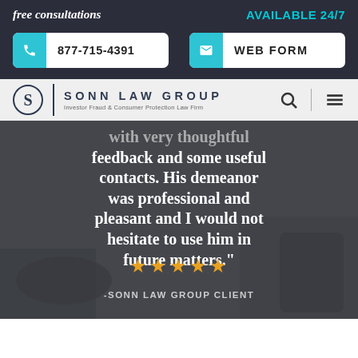free consultations
AVAILABLE 24/7
877-715-4391
WEB FORM
[Figure (logo): Sonn Law Group logo with stylized S in circle, vertical divider, SONN LAW GROUP text and tagline 'Investor Fraud & Consumer Protection Law Firm']
with very thoughtful feedback and some useful contacts. His demeanor was professional and pleasant and I would not hesitate to use him in future matters."
★★★★★
-SONN LAW GROUP CLIENT